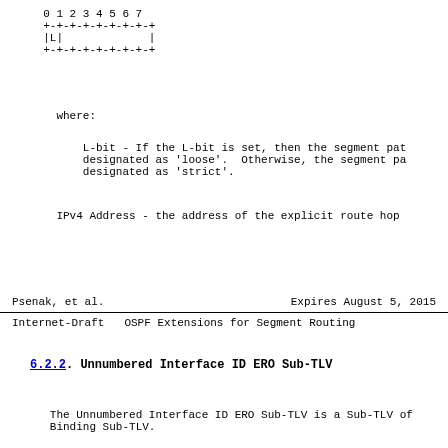0 1 2 3 4 5 6 7
  +-+-+-+-+-+-+-+-+
  |L|             |
  +-+-+-+-+-+-+-+-+
where:
L-bit - If the L-bit is set, then the segment pat
        designated as 'loose'.  Otherwise, the segment pa
        designated as 'strict'.
IPv4 Address - the address of the explicit route hop
Psenak, et al.          Expires August 5, 2015
Internet-Draft      OSPF Extensions for Segment Routing
6.2.2.  Unnumbered Interface ID ERO Sub-TLV
The Unnumbered Interface ID ERO Sub-TLV is a Sub-TLV of
   Binding Sub-TLV.